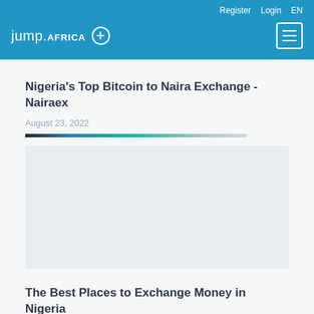jump.AFRICA + | Register Login EN
Nigeria's Top Bitcoin to Naira Exchange - Nairaex
August 23, 2022
[Figure (other): Gradient decorative line separator]
[Figure (photo): Article image placeholder]
The Best Places to Exchange Money in Nigeria